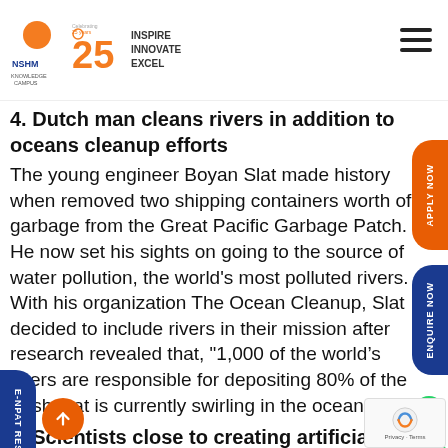NSHM Knowledge Campus — 25 years — Inspire Innovate Excel
4. Dutch man cleans rivers in addition to oceans cleanup efforts
The young engineer Boyan Slat made history when removed two shipping containers worth of garbage from the Great Pacific Garbage Patch. He now set his sights on going to the source of water pollution, the world&#39;s most polluted rivers. With his organization The Ocean Cleanup, Slat decided to include rivers in their mission after research revealed that, &quot;1,000 of the world’s rivers are responsible for depositing 80% of the trash that is currently swirling in the ocean.&quot;
5. Scientists close to creating artificial photosynthesis
Scientists are on the cusp of being able to use artificial photosynthesis to generate renewable